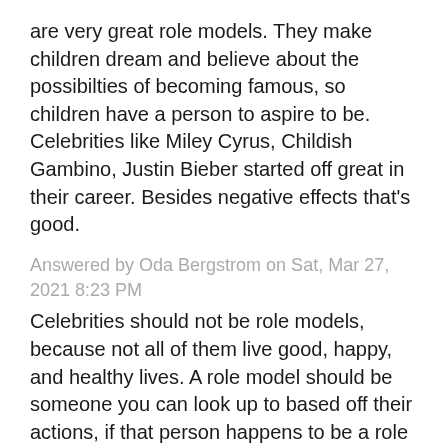are very great role models. They make children dream and believe about the possibilties of becoming famous, so children have a person to aspire to be. Celebrities like Miley Cyrus, Childish Gambino, Justin Bieber started off great in their career. Besides negative effects that's good.
Answered by Oda Bergstrom on Sat, Mar 27, 2021 8:23 PM
Celebrities should not be role models, because not all of them live good, happy, and healthy lives. A role model should be someone you can look up to based off their actions, if that person happens to be a role model is one thing, but they should not specifically look for a celebrity as a role model.
Answered by Zora Ruecker on Sat, Mar 27, 2021 9:00 PM